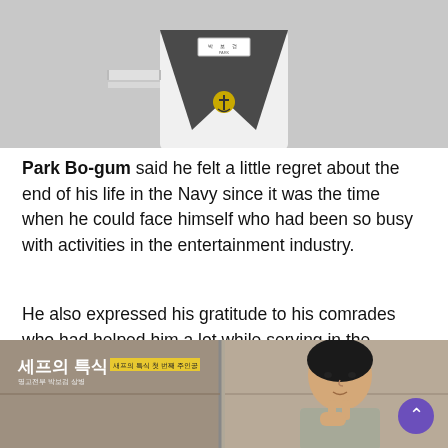[Figure (photo): Person wearing a white Navy uniform with a dark sailor collar, anchor badge, and name tag reading 'PARK' in Korean and English]
Park Bo-gum said he felt a little regret about the end of his life in the Navy since it was the time when he could face himself who had been so busy with activities in the entertainment industry.
He also expressed his gratitude to his comrades who had helped him a lot while serving in the military.
[Figure (screenshot): TV show screenshot with Korean text '세프의 특식' and subtitle box, showing a person making a hand gesture]